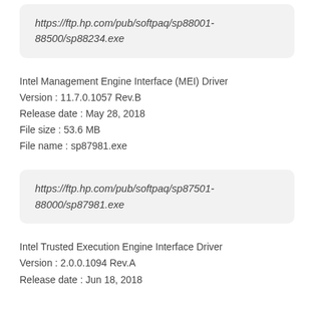https://ftp.hp.com/pub/softpaq/sp88001-88500/sp88234.exe
Intel Management Engine Interface (MEI) Driver
Version : 11.7.0.1057 Rev.B
Release date : May 28, 2018
File size : 53.6 MB
File name : sp87981.exe
https://ftp.hp.com/pub/softpaq/sp87501-88000/sp87981.exe
Intel Trusted Execution Engine Interface Driver
Version : 2.0.0.1094 Rev.A
Release date : Jun 18, 2018